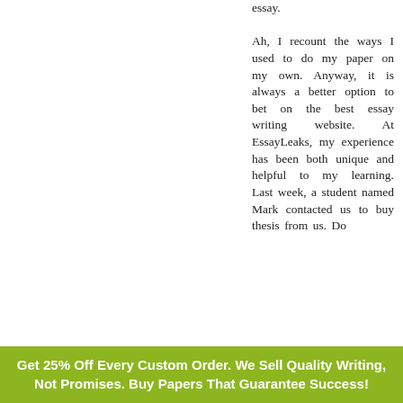essay. Ah, I recount the ways I used to do my paper on my own. Anyway, it is always a better option to bet on the best essay writing website. At EssayLeaks, my experience has been both unique and helpful to my learning. Last week, a student named Mark contacted us to buy thesis from us. Do
Get 25% Off Every Custom Order. We Sell Quality Writing, Not Promises. Buy Papers That Guarantee Success!